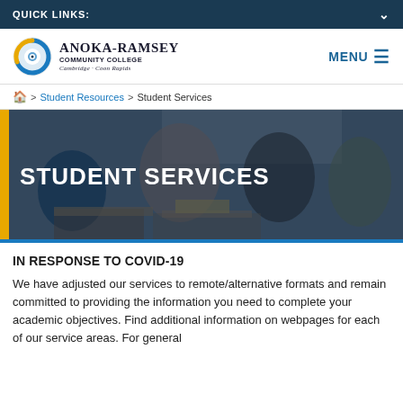QUICK LINKS:
[Figure (logo): Anoka-Ramsey Community College logo with circular blue/gold graphic and text: ANOKA-RAMSEY COMMUNITY COLLEGE, Cambridge · Coon Rapids]
MENU
🏠 > Student Resources > Student Services
[Figure (photo): Students sitting at desks in a classroom setting, viewed from behind and side. Hero banner with text STUDENT SERVICES overlaid on a dark semi-transparent background with a yellow left accent bar.]
IN RESPONSE TO COVID-19
We have adjusted our services to remote/alternative formats and remain committed to providing the information you need to complete your academic objectives. Find additional information on webpages for each of our service areas. For general